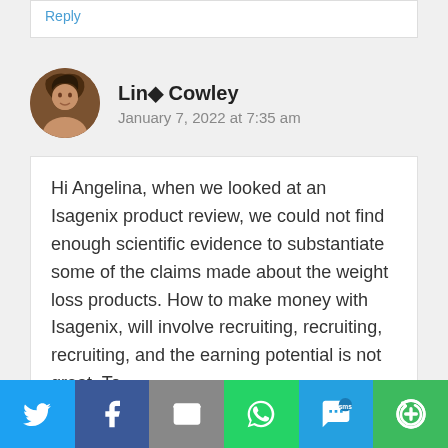Reply
Lin◆ Cowley
January 7, 2022 at 7:35 am
Hi Angelina, when we looked at an Isagenix product review, we could not find enough scientific evidence to substantiate some of the claims made about the weight loss products. How to make money with Isagenix, will involve recruiting, recruiting, recruiting, and the earning potential is not great. To
Twitter | Facebook | Email | WhatsApp | SMS | More